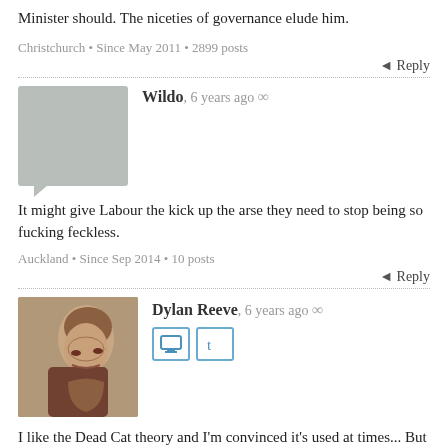Minister should. The niceties of governance elude him.
Christchurch • Since May 2011 • 2899 posts
↵ Reply
Wildo, 6 years ago ∞
It might give Labour the kick up the arse they need to stop being so fucking feckless.
Auckland • Since Sep 2014 • 10 posts
↵ Reply
[Figure (photo): Profile photo of Dylan Reeve, a man with a beard looking upward]
Dylan Reeve, 6 years ago ∞
I like the Dead Cat theory and I'm convinced it's used at times... But I don't think this was one.
I think this was an opportunity to both score points against the opposition and also to re-frame the detainees to limit public sympathy for them (and by